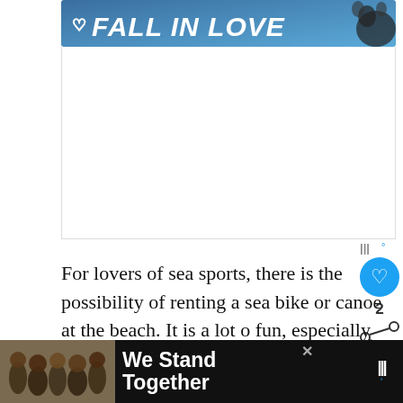[Figure (illustration): Blue banner with white italic bold text 'FALL IN LOVE' and a small heart icon on the left, dog illustration on the right]
[Figure (illustration): Large white/blank advertisement placeholder area below the banner]
[Figure (illustration): Blue circular like/heart button with count 2 and share icon on the right sidebar]
For lovers of sea sports, there is the possibility of renting a sea bike or canoe at the beach. It is a lot of fun, especially when you do it with friends! The Red beach is the best place for those who love as the bottom has an interesting structure that is
[Figure (illustration): 'WHAT'S NEXT → The 12 Best Santorini...' widget with thumbnail image]
[Figure (illustration): Bottom black ad bar with group photo and 'We Stand Together' text, close button, and logo]